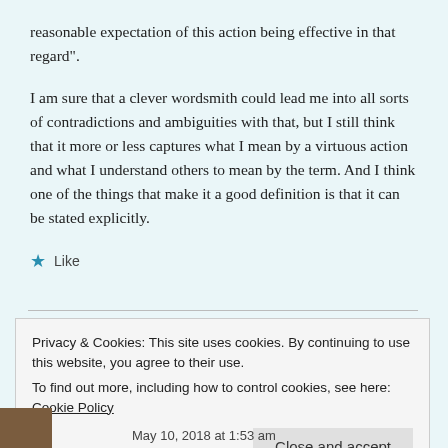reasonable expectation of this action being effective in that regard".
I am sure that a clever wordsmith could lead me into all sorts of contradictions and ambiguities with that, but I still think that it more or less captures what I mean by a virtuous action and what I understand others to mean by the term. And I think one of the things that make it a good definition is that it can be stated explicitly.
★ Like
Privacy & Cookies: This site uses cookies. By continuing to use this website, you agree to their use.
To find out more, including how to control cookies, see here: Cookie Policy
Close and accept
May 10, 2018 at 1:53 am